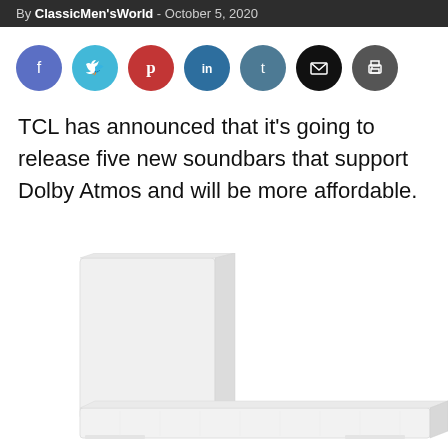By ClassicMen'sWorld - October 5, 2020
[Figure (infographic): Row of seven circular social media share buttons: Facebook (purple-blue), Twitter (cyan), Pinterest (red), LinkedIn (dark blue), Tumblr (slate blue), Email (black), Print (dark grey)]
TCL has announced that it's going to release five new soundbars that support Dolby Atmos and will be more affordable.
[Figure (photo): A white TCL soundbar with a separate subwoofer unit, photographed on a white background at an angle. The subwoofer is a tall rectangular box on the left, and the soundbar extends horizontally to the right.]